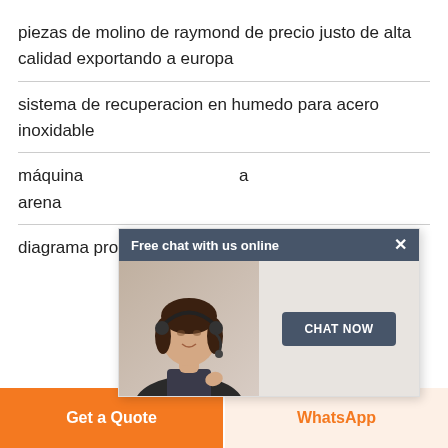piezas de molino de raymond de precio justo de alta calidad exportando a europa
sistema de recuperacion en humedo para acero inoxidable
máquina ... a arena
[Figure (screenshot): Chat popup overlay with header 'Free chat with us online', close button, photo of woman with headset, and 'CHAT NOW' button]
diagrama proceso molienda de carbonato calico
Get a Quote | WhatsApp